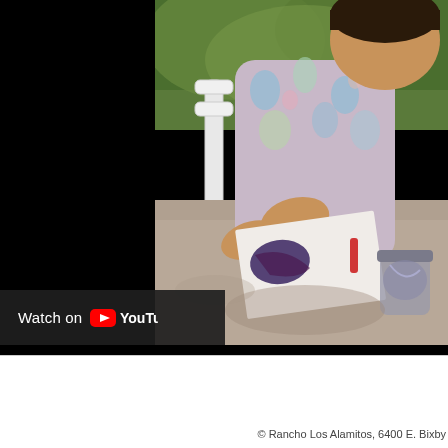[Figure (screenshot): YouTube video embed showing a child painting at an outdoor table. The left portion of the video frame is black (video not playing), while the right portion shows a child in a floral shirt leaning over a gray table with a painted paper and a jar, with a white chair and green foliage in the background. A 'Watch on YouTube' button appears at the bottom-left of the video frame.]
© Rancho Los Alamitos, 6400 E. Bixby